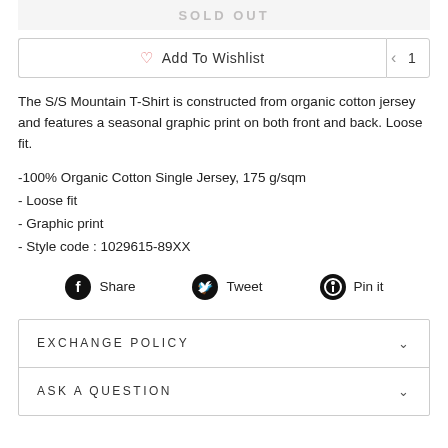SOLD OUT
Add To Wishlist
The S/S Mountain T-Shirt is constructed from organic cotton jersey and features a seasonal graphic print on both front and back. Loose fit.
-100% Organic Cotton Single Jersey, 175 g/sqm
- Loose fit
- Graphic print
- Style code : 1029615-89XX
Share  Tweet  Pin it
EXCHANGE POLICY
ASK A QUESTION